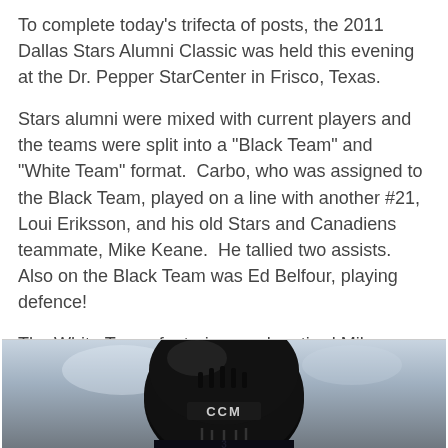To complete today's trifecta of posts, the 2011 Dallas Stars Alumni Classic was held this evening at the Dr. Pepper StarCenter in Frisco, Texas.
Stars alumni were mixed with current players and the teams were split into a "Black Team" and "White Team" format. Carbo, who was assigned to the Black Team, played on a line with another #21, Loui Eriksson, and his old Stars and Canadiens teammate, Mike Keane. He tallied two assists. Also on the Black Team was Ed Belfour, playing defence!
The White Team, featuring newly retired Mike Modano, came out on top and won the game 11-9. (Dallas Morning News)
Also, Carbo will be playing in the 2011 Dr. Pepper Golf Classic, tomorrow at the Royal Oaks Country Club in Dallas. (Dallas Stars)
[Figure (photo): Hockey player wearing a black CCM helmet, partially visible at bottom of page]